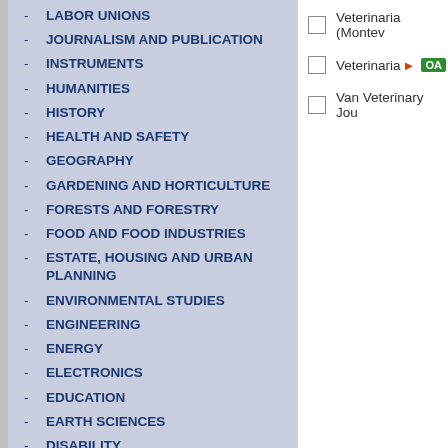- LABOR UNIONS
- JOURNALISM AND PUBLICATION
- INSTRUMENTS
- HUMANITIES
- HISTORY
- HEALTH AND SAFETY
- GEOGRAPHY
- GARDENING AND HORTICULTURE
- FORESTS AND FORESTRY
- FOOD AND FOOD INDUSTRIES
- ESTATE, HOUSING AND URBAN PLANNING
- ENVIRONMENTAL STUDIES
- ENGINEERING
- ENERGY
- ELECTRONICS
- EDUCATION
- EARTH SCIENCES
- DISABILITY
- CONSERVATION
- COMPUTER SCIENCE
Veterinaria (Montev...
Veterinaria ▶ OA
Van Veterinary Jou...